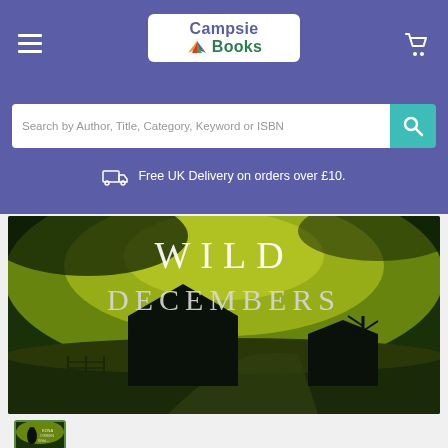[Figure (logo): Campsie Books logo in white rounded box with colorful open book icon]
Search by Author, Title, Category, Keyword or ISBN
Free UK Delivery on orders over £10.
[Figure (photo): Book cover for 'Wild Decembers' showing green-tinted rural landscape with barn and farmhouse silhouettes under dramatic sky, large serif title text 'WILD DECEMBERS']
[Figure (photo): Small thumbnail of the Wild Decembers book cover showing author and title]